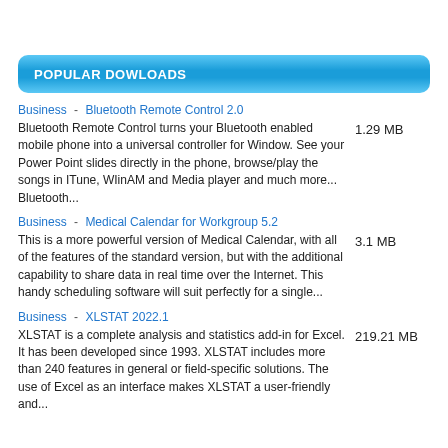POPULAR DOWLOADS
Business - Bluetooth Remote Control 2.0
Bluetooth Remote Control turns your Bluetooth enabled mobile phone into a universal controller for Window. See your Power Point slides directly in the phone, browse/play the songs in ITune, WIinAM and Media player and much more... Bluetooth...
1.29 MB
Business - Medical Calendar for Workgroup 5.2
This is a more powerful version of Medical Calendar, with all of the features of the standard version, but with the additional capability to share data in real time over the Internet. This handy scheduling software will suit perfectly for a single...
3.1 MB
Business - XLSTAT 2022.1
XLSTAT is a complete analysis and statistics add-in for Excel. It has been developed since 1993. XLSTAT includes more than 240 features in general or field-specific solutions. The use of Excel as an interface makes XLSTAT a user-friendly and...
219.21 MB